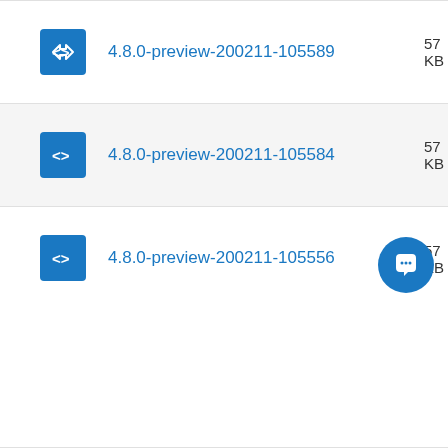4.8.0-preview-200211-105589
4.8.0-preview-200211-105584
4.8.0-preview-200211-105556